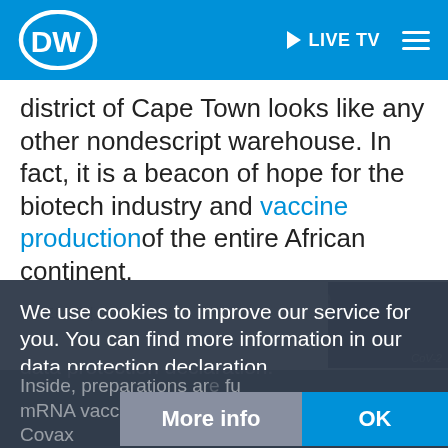DW | LIVE TV
district of Cape Town looks like any other nondescript warehouse. In fact, it is a beacon of hope for the biotech industry and vaccine productionof the entire African continent.
SCIENCE | 01.12.2021
How dangerous is the omicron variant?
We use cookies to improve our service for you. You can find more information in our data protection declaration.
Inside, preparations are ... future mRNA vaccine production. The Covax
More info
OK